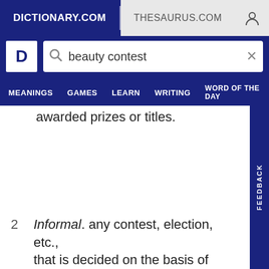DICTIONARY.COM   THESAURUS.COM
beauty contest
MEANINGS   GAMES   LEARN   WRITING   WORD OF THE DAY
awarded prizes or titles.
2   Informal. any contest, election, etc., that is decided on the basis of